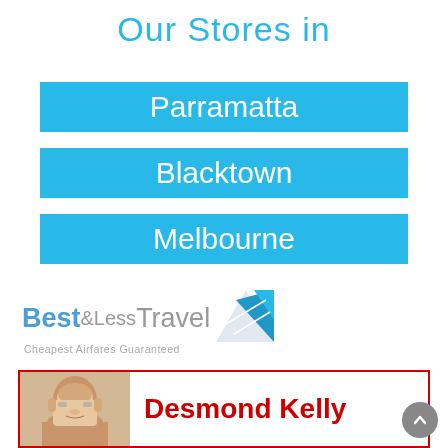Our Stores in
Parramatta
Blacktown
Melbourne
[Figure (logo): Best & Less Travel logo with tagline 'Cheapest Airfares Guaranteed' and a blue angular plane/wing icon]
[Figure (photo): Portrait photo of Desmond Kelly, a middle-aged man with glasses]
Desmond Kelly